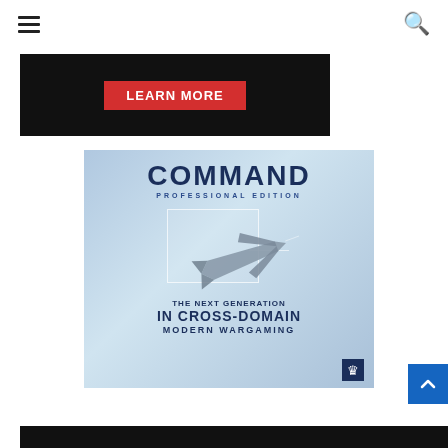Navigation menu and search icon
[Figure (other): Dark banner with red LEARN MORE button]
[Figure (illustration): Command Professional Edition advertisement showing a stealth fighter jet with text: THE NEXT GENERATION in CROSS-DOMAIN MODERN WARGAMING]
[Figure (other): Dark bottom bar strip]